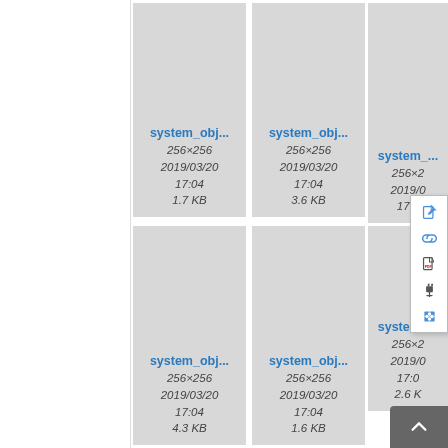[Figure (screenshot): File manager/media library screenshot showing a grid of image files named 'system_obj...' with metadata: 256×256, 2019/03/20, 17:04, and file sizes (1.7 KB, 3.6 KB, 4.3 KB, 1.6 KB). A context menu is visible on the right side with edit, link, PDF, and plugin icons. A scroll-to-top button appears in the bottom right corner.]